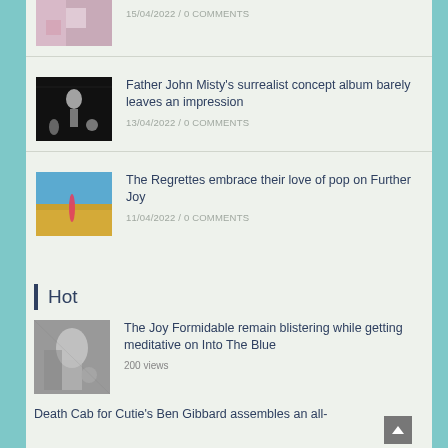[Figure (photo): Partial thumbnail of colorful image at top, partially cropped]
15/04/2022 / 0 COMMENTS
[Figure (photo): Black and white photo of performer on dark stage]
Father John Misty’s surrealist concept album barely leaves an impression
13/04/2022 / 0 COMMENTS
[Figure (photo): A person in a golden field under a blue sky]
The Regrettes embrace their love of pop on Further Joy
11/04/2022 / 0 COMMENTS
Hot
[Figure (photo): Black and white photo of musician with guitar]
The Joy Formidable remain blistering while getting meditative on Into The Blue
200 views
Death Cab for Cutie’s Ben Gibbard assembles an all-